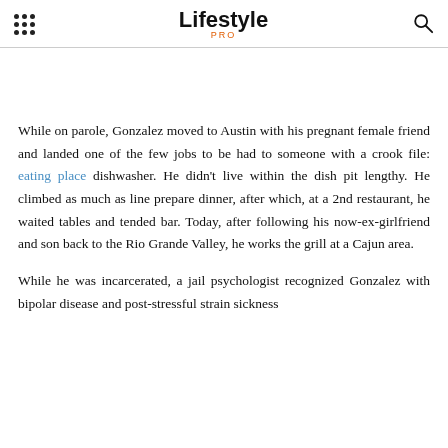Lifestyle PRO
While on parole, Gonzalez moved to Austin with his pregnant female friend and landed one of the few jobs to be had to someone with a crook file: eating place dishwasher. He didn't live within the dish pit lengthy. He climbed as much as line prepare dinner, after which, at a 2nd restaurant, he waited tables and tended bar. Today, after following his now-ex-girlfriend and son back to the Rio Grande Valley, he works the grill at a Cajun area.
While he was incarcerated, a jail psychologist recognized Gonzalez with bipolar disease and post-stressful strain sickness